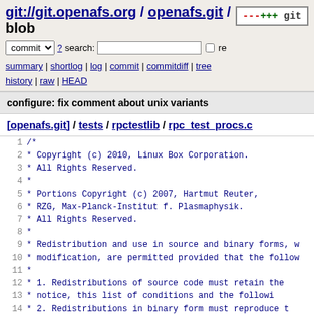git://git.openafs.org / openafs.git / blob
commit search: re
summary | shortlog | log | commit | commitdiff | tree history | raw | HEAD
configure: fix comment about unix variants
[openafs.git] / tests / rpctestlib / rpc_test_procs.c
1 /*
2  * Copyright (c) 2010, Linux Box Corporation.
3  * All Rights Reserved.
4  *
5  * Portions Copyright (c) 2007, Hartmut Reuter,
6  * RZG, Max-Planck-Institut f. Plasmaphysik.
7  * All Rights Reserved.
8  *
9  * Redistribution and use in source and binary forms, w
10  * modification, are permitted provided that the follo
11  *
12  *    1. Redistributions of source code must retain the
13  *       notice, this list of conditions and the followi
14  *    2. Redistributions in binary form must reproduce t
15  *       notice, this list of conditions and the followi
16  *       the documentation and/or other materials provid
17  *       distribution.
18  *
19  * THIS SOFTWARE IS PROVIDED ``AS IS'' AND ANY EXPRESS